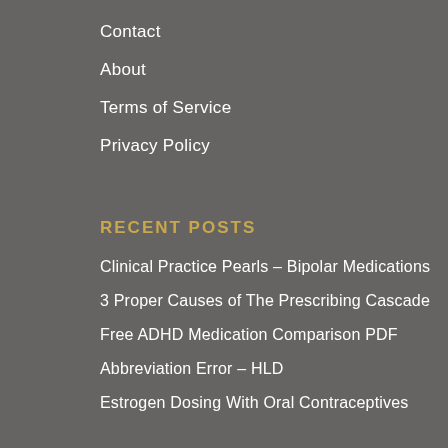Contact
About
Terms of Service
Privacy Policy
RECENT POSTS
Clinical Practice Pearls – Bipolar Medications
3 Proper Causes of The Prescribing Cascade
Free ADHD Medication Comparison PDF
Abbreviation Error – HLD
Estrogen Dosing With Oral Contraceptives